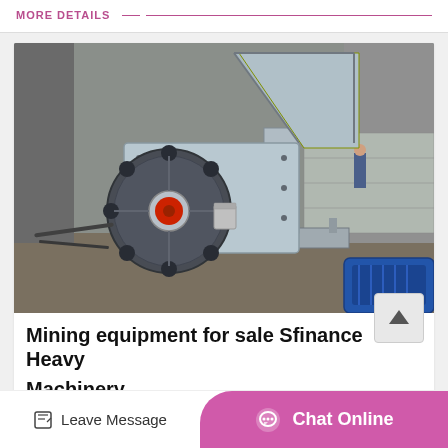MORE DETAILS
[Figure (photo): Industrial hammer mill / crusher machine in gray/blue color, large flywheel with red center hub, shown in a factory/workshop setting. Blue motor visible in bottom right corner.]
Mining equipment for sale Sfinance Heavy Machinery
Leave Message | Chat Online